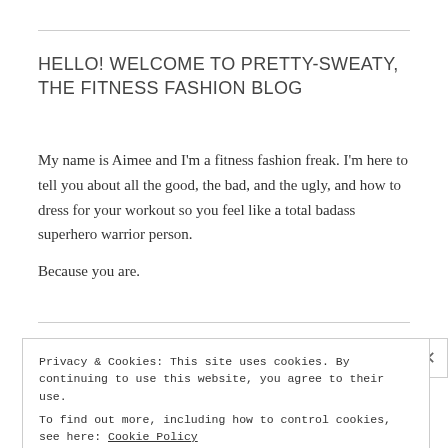HELLO! WELCOME TO PRETTY-SWEATY, THE FITNESS FASHION BLOG
My name is Aimee and I'm a fitness fashion freak. I'm here to tell you about all the good, the bad, and the ugly, and how to dress for your workout so you feel like a total badass superhero warrior person. Because you are.
Privacy & Cookies: This site uses cookies. By continuing to use this website, you agree to their use. To find out more, including how to control cookies, see here: Cookie Policy